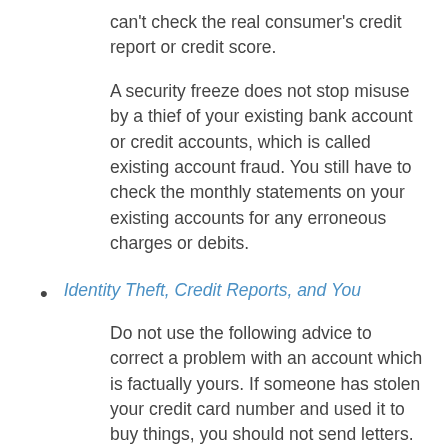can't check the real consumer's credit report or credit score.
A security freeze does not stop misuse by a thief of your existing bank account or credit accounts, which is called existing account fraud. You still have to check the monthly statements on your existing accounts for any erroneous charges or debits.
Identity Theft, Credit Reports, and You
Do not use the following advice to correct a problem with an account which is factually yours. If someone has stolen your credit card number and used it to buy things, you should not send letters. Just call your bank; they'll take care of it. For reasons beyond the scope of this post, that is